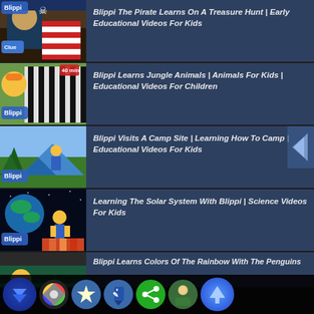Blippi The Pirate Learns On A Treasure Hunt | Early Educational Videos For Kids
Blippi Learns Jungle Animals | Animals For Kids | Educational Videos For Children
Blippi Visits A Camp Site | Learning How To Camp | Educational Videos For Kids
Learning The Solar System With Blippi | Science Videos For Kids
Blippi Learns Colors Of The Rainbow With The Penguins